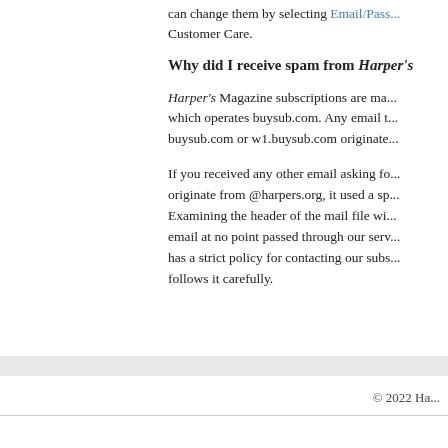can change them by selecting Email/Pass... Customer Care.
Why did I receive spam from Harper's
Harper's Magazine subscriptions are ma... which operates buysub.com. Any email t... buysub.com or w1.buysub.com originate...
If you received any other email asking fo... originate from @harpers.org, it used a sp... Examining the header of the mail file wi... email at no point passed through our serv... has a strict policy for contacting our subs... follows it carefully.
© 2022 Ha...